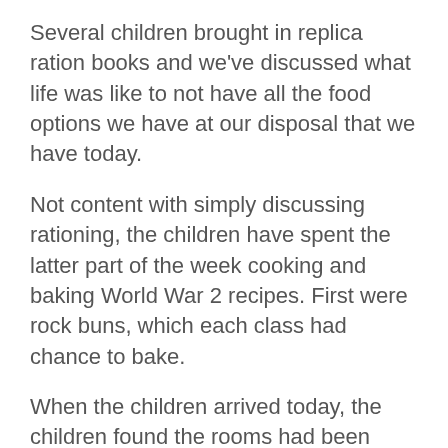Several children brought in replica ration books and we've discussed what life was like to not have all the food options we have at our disposal that we have today.
Not content with simply discussing rationing, the children have spent the latter part of the week cooking and baking World War 2 recipes. First were rock buns, which each class had chance to bake.
When the children arrived today, the children found the rooms had been rearranged for the preparation of vegetable soup. To help join in with the war effort, the children dug up and used spring onion, celeriac and potatoes from the school garden and many staff brought in produce from their own gardens.
We spent a very messy morning preparing...